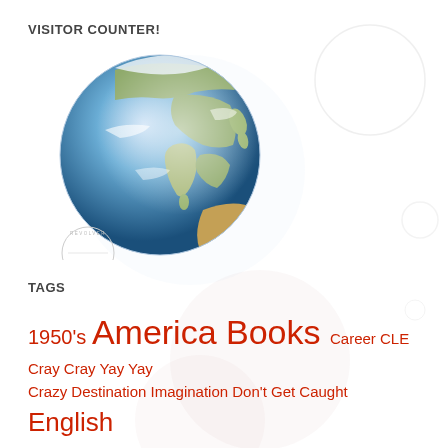VISITOR COUNTER!
[Figure (illustration): 3D rendered globe showing Asia-Pacific and Australia region with blue oceans, with a circular stamp watermark reading 'REVOLVER MAPS' underneath]
TAGS
1950's America Books Career CLE Cray Cray Yay Yay Crazy Destination Imagination Don't Get Caught English Environment Essay Exhibition First Nations Future Games Goals Habits Macbeth Math Mr. Gross Mr. ...